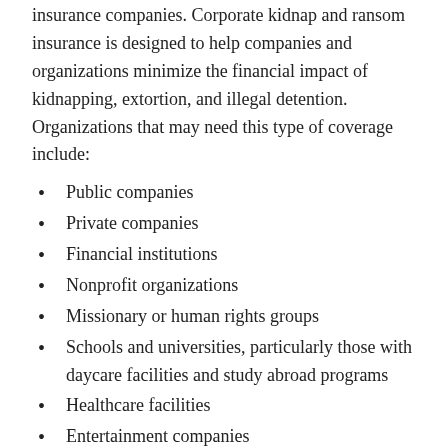insurance companies. Corporate kidnap and ransom insurance is designed to help companies and organizations minimize the financial impact of kidnapping, extortion, and illegal detention. Organizations that may need this type of coverage include:
Public companies
Private companies
Financial institutions
Nonprofit organizations
Missionary or human rights groups
Schools and universities, particularly those with daycare facilities and study abroad programs
Healthcare facilities
Entertainment companies